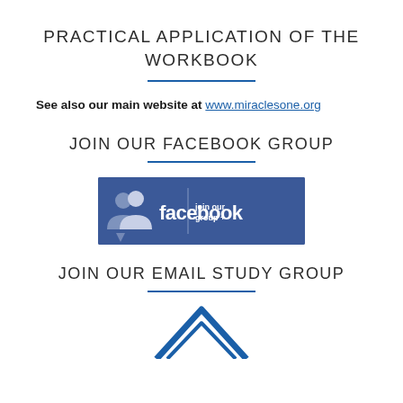PRACTICAL APPLICATION OF THE WORKBOOK
See also our main website at www.miraclesone.org
JOIN OUR FACEBOOK GROUP
[Figure (logo): Facebook 'join our group +' button banner with blue background, Facebook logo icon and text]
JOIN OUR EMAIL STUDY GROUP
[Figure (logo): Partial view of a house/roof logo in blue at the bottom of the page]